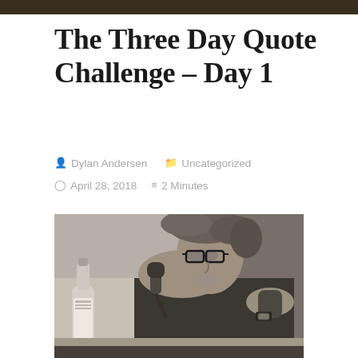The Three Day Quote Challenge – Day 1
Dylan Andersen   Uncategorized   April 28, 2018   2 Minutes
[Figure (photo): Black and white photograph of a middle-aged man with glasses and disheveled hair leaning toward a microphone. A wine or beer bottle is visible in the foreground left. The man appears to be speaking or reading at a table.]